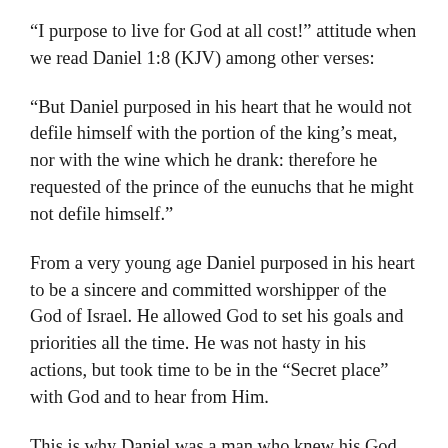“I purpose to live for God at all cost!” attitude when we read Daniel 1:8 (KJV) among other verses:
“But Daniel purposed in his heart that he would not defile himself with the portion of the king’s meat, nor with the wine which he drank: therefore he requested of the prince of the eunuchs that he might not defile himself.”
From a very young age Daniel purposed in his heart to be a sincere and committed worshipper of the God of Israel. He allowed God to set his goals and priorities all the time. He was not hasty in his actions, but took time to be in the “Secret place” with God and to hear from Him.
This is why Daniel was a man who knew his God, was bold and had favour with God and man, a foundation to